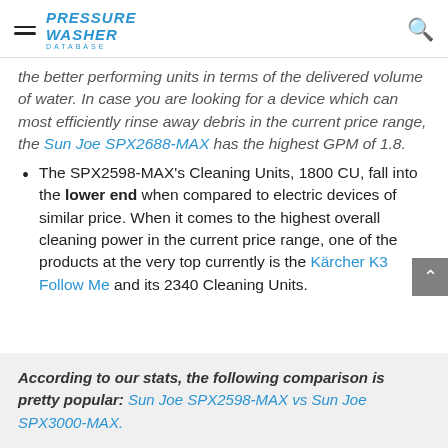Pressure Washer Database
the better performing units in terms of the delivered volume of water. In case you are looking for a device which can most efficiently rinse away debris in the current price range, the Sun Joe SPX2688-MAX has the highest GPM of 1.8.
The SPX2598-MAX's Cleaning Units, 1800 CU, fall into the lower end when compared to electric devices of similar price. When it comes to the highest overall cleaning power in the current price range, one of the products at the very top currently is the Kärcher K3 Follow Me and its 2340 Cleaning Units.
According to our stats, the following comparison is pretty popular: Sun Joe SPX2598-MAX vs Sun Joe SPX3000-MAX.